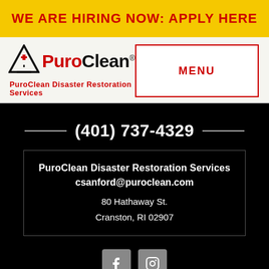WE ARE HIRING NOW: APPLY HERE
[Figure (logo): PuroClean logo with triangle warning icon and wordmark]
PuroClean Disaster Restoration Services
MENU
(401) 737-4329
PuroClean Disaster Restoration Services
csanford@puroclean.com
80 Hathaway St.
Cranston, RI 02907
[Figure (infographic): Facebook and Instagram social media icons]